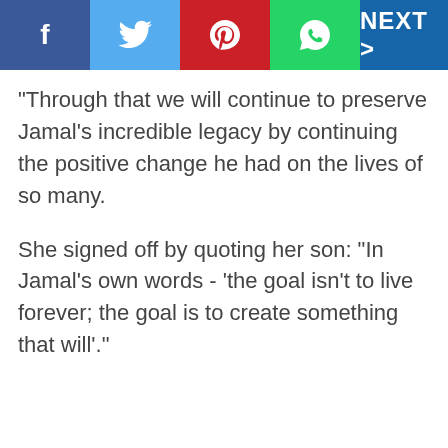[Figure (screenshot): Social media navigation bar with Facebook, Twitter, Pinterest, WhatsApp share buttons and a NEXT > button]
"Through that we will continue to preserve Jamal's incredible legacy by continuing the positive change he had on the lives of so many.
She signed off by quoting her son: "In Jamal's own words - 'the goal isn't to live forever; the goal is to create something that will'."